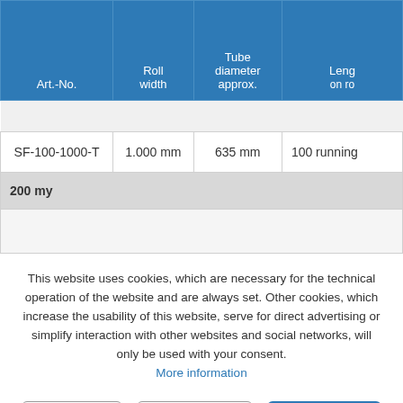| Art.-No. | Roll width | Tube diameter approx. | Leng... on r... |
| --- | --- | --- | --- |
| SF-100-1000-T | 1.000 mm | 635 mm | 100 running... |
| 200 my |  |  |  |
This website uses cookies, which are necessary for the technical operation of the website and are always set. Other cookies, which increase the usability of this website, serve for direct advertising or simplify interaction with other websites and social networks, will only be used with your consent.
More information